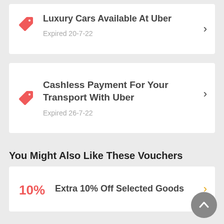Luxury Cars Available At Uber
Expired 20-7-22
Cashless Payment For Your Transport With Uber
Expired 26-7-22
You Might Also Like These Vouchers
Extra 10% Off Selected Goods